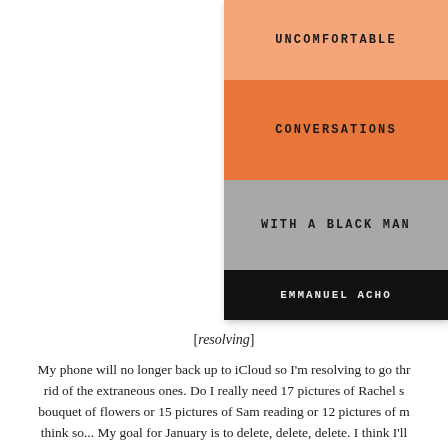[Figure (illustration): Book cover of 'Uncomfortable Conversations with a Black Man' by Emmanuel Acho. The cover has four horizontal bands: a salmon/light orange band at top with 'UNCOMFORTABLE', a darker orange band with 'CONVERSATIONS', a gray band with 'WITH A BLACK MAN', and a black band with 'EMMANUEL ACHO'.]
[resolving]
My phone will no longer back up to iCloud so I'm resolving to go through and get rid of the extraneous ones. Do I really need 17 pictures of Rachel seeing a bouquet of flowers or 15 pictures of Sam reading or 12 pictures of me... I don't think so... My goal for January is to delete, delete, delete. I think I'll keep books like this one!